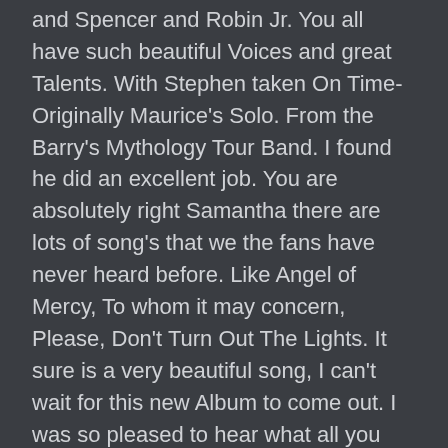and Spencer and Robin Jr. You all have such beautiful Voices and great Talents. With Stephen taken On Time- Originally Maurice's Solo. From the Barry's Mythology Tour Band. I found he did an excellent job. You are absolutely right Samantha there are lots of song's that we the fans have never heard before. Like Angel of Mercy, To whom it may concern, Please, Don't Turn Out The Lights. It sure is a very beautiful song, I can't wait for this new Album to come out. I was so pleased to hear what all you kids had endured while your father and Uncles were out on the road. I bet it was so extravagant to see the different culture's of all different country's. That is so Awesome. For all of you, Can't wait to